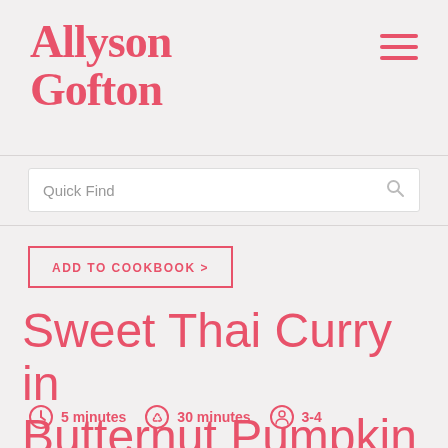Allyson Gofton
Quick Find
ADD TO COOKBOOK >
Sweet Thai Curry in Butternut Pumpkin
5 minutes  30 minutes  3-4